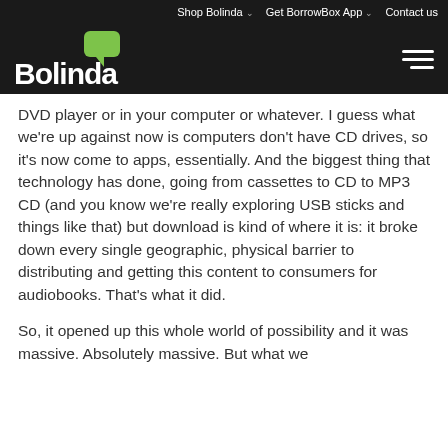Shop Bolinda  Get BorrowBox App  Contact us
[Figure (logo): Bolinda logo with green speech bubble icon on dark background, with hamburger menu icon on right]
DVD player or in your computer or whatever. I guess what we're up against now is computers don't have CD drives, so it's now come to apps, essentially. And the biggest thing that technology has done, going from cassettes to CD to MP3 CD (and you know we're really exploring USB sticks and things like that) but download is kind of where it is: it broke down every single geographic, physical barrier to distributing and getting this content to consumers for audiobooks. That's what it did.
So, it opened up this whole world of possibility and it was massive. Absolutely massive. But what we